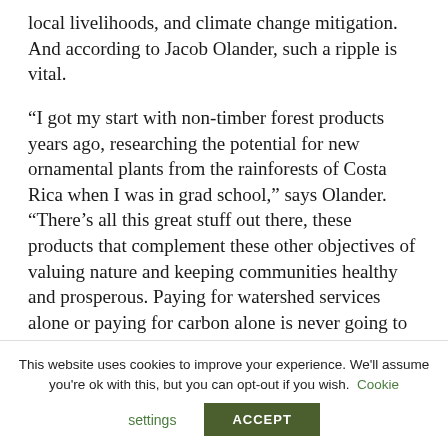local livelihoods, and climate change mitigation. And according to Jacob Olander, such a ripple is vital.
“I got my start with non-timber forest products years ago, researching the potential for new ornamental plants from the rainforests of Costa Rica when I was in grad school,” says Olander. “There’s all this great stuff out there, these products that complement these other objectives of valuing nature and keeping communities healthy and prosperous. Paying for watershed services alone or paying for carbon alone is never going to get us [to climate-change mitigation].”
This website uses cookies to improve your experience. We'll assume you're ok with this, but you can opt-out if you wish. Cookie settings ACCEPT